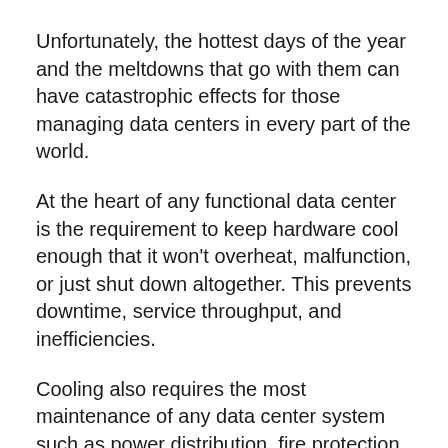Unfortunately, the hottest days of the year and the meltdowns that go with them can have catastrophic effects for those managing data centers in every part of the world.
At the heart of any functional data center is the requirement to keep hardware cool enough that it won't overheat, malfunction, or just shut down altogether. This prevents downtime, service throughput, and inefficiencies.
Cooling also requires the most maintenance of any data center system such as power distribution, fire protection, and generators.
Data center infrastructure and service provider Vertiv knows the effects of heat on hardware all too well – their experts are often called out to help customers who have ageing cooling systems that are about to fail, or have failed already.